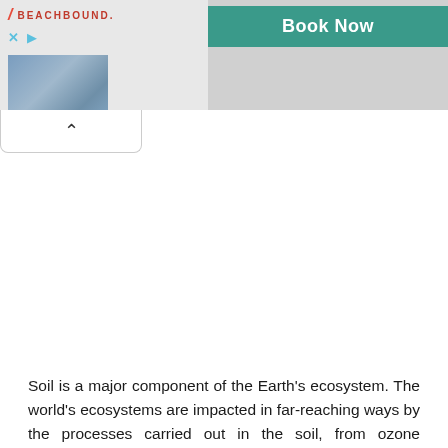[Figure (screenshot): Advertisement banner for Beachbound with a beach resort photo and a teal 'Book Now' button]
Soil is a major component of the Earth's ecosystem. The world's ecosystems are impacted in far-reaching ways by the processes carried out in the soil, from ozone depletion and global warming to rainforest destruction and water pollution. With respect to Earth's carbon cycle, soil is an